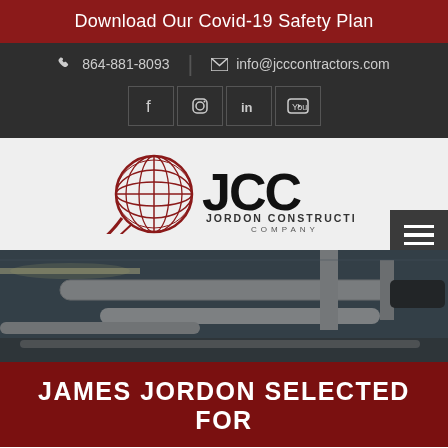Download Our Covid-19 Safety Plan
864-881-8093  info@jcccontractors.com
[Figure (logo): JCC Jordon Construction Company logo with red globe graphic]
[Figure (photo): Construction site interior showing pipes and ductwork on ceiling]
JAMES JORDON SELECTED FOR